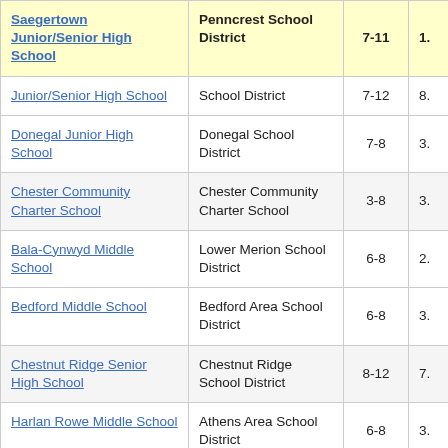| School | District | Grades |  |
| --- | --- | --- | --- |
| Saegertown Junior/Senior High School | Penncrest School District | 7-11 | 1. |
| Junior/Senior High School | School District | 7-12 | 8. |
| Donegal Junior High School | Donegal School District | 7-8 | 3. |
| Chester Community Charter School | Chester Community Charter School | 3-8 | 3. |
| Bala-Cynwyd Middle School | Lower Merion School District | 6-8 | 2. |
| Bedford Middle School | Bedford Area School District | 6-8 | 3. |
| Chestnut Ridge Senior High School | Chestnut Ridge School District | 8-12 | 7. |
| Harlan Rowe Middle School | Athens Area School District | 6-8 | 3. |